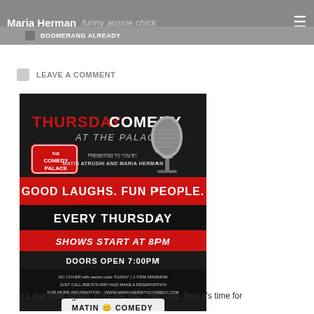Maria Herman | funny aussie chick | BOOMERANG ALREADY
LEAVE A COMMENT
[Figure (photo): Event poster for Thursday Comedy at The Palace, featuring a vintage microphone on dark background. Text: THURSDAY COMEDY AT THE PALACE. Presented to you by Matin Atrushi and Maria Herman. GOOD LAUGHS. FUN PEOPLE. EVERY THURSDAY. SHOWS START AT 8PM. DOORS OPEN 7:00PM. NO COVER with secret code 'FUNNY' | 2 ITEM MINIMUM. JUST CALL 858-573-0007 AND MAKE A RESERVATION. FOR MORE INFORMATION - WWW.MARIAHERMANCOMEDY.COM. MATIN COMEDY. THE COMEDY PALACE | 8910 CLAIREMONT MESA BLVD, SAN DIEGO, CA 92123]
It's that time again!. If it's the first Thursday, then it's time for